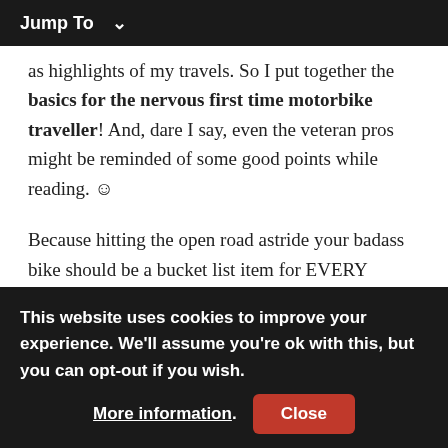Jump To ∨
as highlights of my travels. So I put together the basics for the nervous first time motorbike traveller! And, dare I say, even the veteran pros might be reminded of some good points while reading. ☺
Because hitting the open road astride your badass bike should be a bucket list item for EVERY traveller. This beginner's guide to motorcycle touring is for you, to go zipping off down Route 66.
After all, the road is always the best teacher.
This website uses cookies to improve your experience. We'll assume you're ok with this, but you can opt-out if you wish. More information. Close